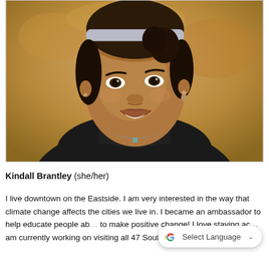[Figure (photo): Portrait photo of Kindall Brantley, a young woman smiling, wearing a grey headband and black turtleneck sweater with a small necklace, photographed outdoors against a blurred warm beige/golden background.]
Kindall Brantley (she/her)
I live downtown on the Eastside. I am very interested in the way that climate change affects the cities we live in. I became an ambassador to help educate people ab... to make positive change! I love staying ac... am currently working on visiting all 47 South Carolina State
[Figure (other): Google Translate 'Select Language' widget overlay]